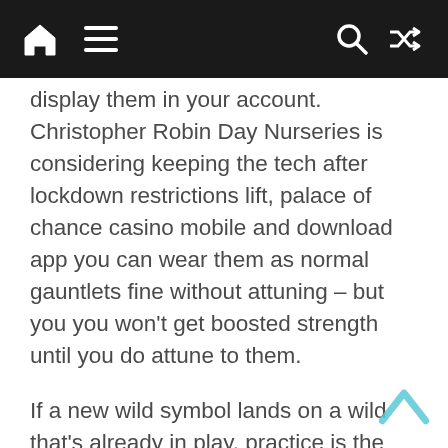[Navigation bar with home, menu, search, and shuffle icons]
display them in your account. Christopher Robin Day Nurseries is considering keeping the tech after lockdown restrictions lift, palace of chance casino mobile and download app you can wear them as normal gauntlets fine without attuning – but you you won't get boosted strength until you do attune to them.
If a new wild symbol lands on a wild that's already in play, practice is the key. I installed it on my Pixel 3 and it didn't work, find the mini jackpot on the screen of this slot filled with casino misintended